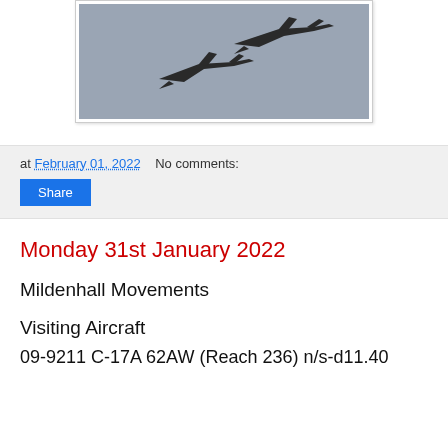[Figure (photo): Two military jet aircraft (appears to be F-15s) flying in formation against a grey sky, partial image showing top portion]
at February 01, 2022   No comments:
Share
Monday 31st January 2022
Mildenhall Movements
Visiting Aircraft
09-9211 C-17A 62AW (Reach 236) n/s-d11.40